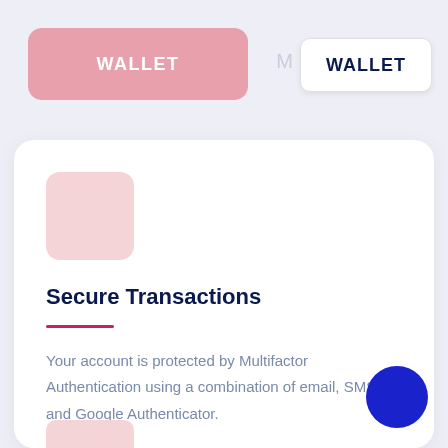WALLET
WALLET
[Figure (illustration): Pink rounded square icon placeholder]
Secure Transactions
Your account is protected by Multifactor Authentication using a combination of email, SMS and Google Authenticator.
[Figure (illustration): Blue circular button in bottom right corner]
[Figure (illustration): Pink strip at bottom of card]